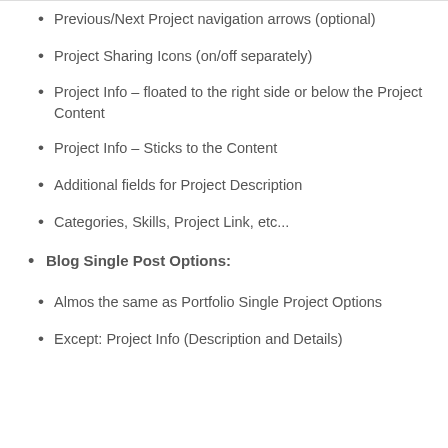Previous/Next Project navigation arrows (optional)
Project Sharing Icons (on/off separately)
Project Info – floated to the right side or below the Project Content
Project Info – Sticks to the Content
Additional fields for Project Description
Categories, Skills, Project Link, etc...
Blog Single Post Options:
Almos the same as Portfolio Single Project Options
Except: Project Info (Description and Details)